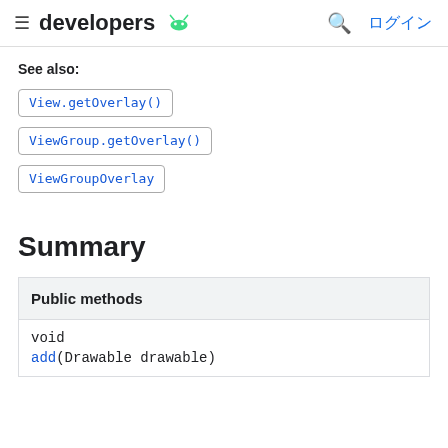developers ログイン
See also:
View.getOverlay()
ViewGroup.getOverlay()
ViewGroupOverlay
Summary
| Public methods |
| --- |
| void |
| add(Drawable drawable) |